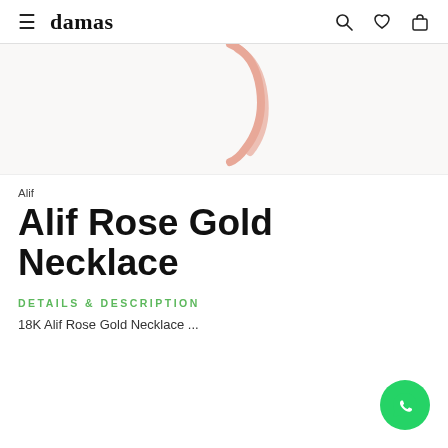damas
[Figure (photo): Partial view of an Alif Rose Gold Necklace pendant in rose gold color against white background]
Alif
Alif Rose Gold Necklace
DETAILS & DESCRIPTION
18K Alif Rose Gold Necklace ...